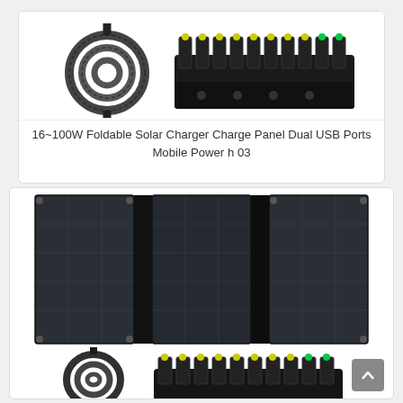[Figure (photo): Product photo showing a coiled black cable and a row of multiple DC connector tips/adapters on white background]
16~100W Foldable Solar Charger Charge Panel Dual USB Ports Mobile Power h 03
[Figure (photo): Product photo of a tri-fold foldable solar panel (dark/black panels unfolded showing three sections), along with a coiled cable and multiple DC connector adapters below it]